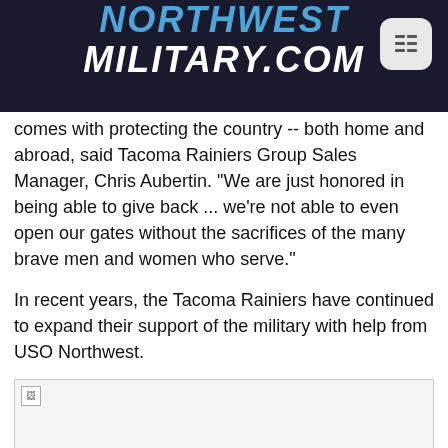NORTHWEST MILITARY.COM
comes with protecting the country -- both home and abroad, said Tacoma Rainiers Group Sales Manager, Chris Aubertin. "We are just honored in being able to give back ... we're not able to even open our gates without the sacrifices of the many brave men and women who serve."
In recent years, the Tacoma Rainiers have continued to expand their support of the military with help from USO Northwest.
[Figure (photo): Placeholder image (broken/unloaded image)]
"Our first major idea was creating the USO Heroes Suite to welcome a different military group for each of our 70 home games during the season," added Aubertin. "The USO has been a great partner and have really helped connect the Rainiers with thousands